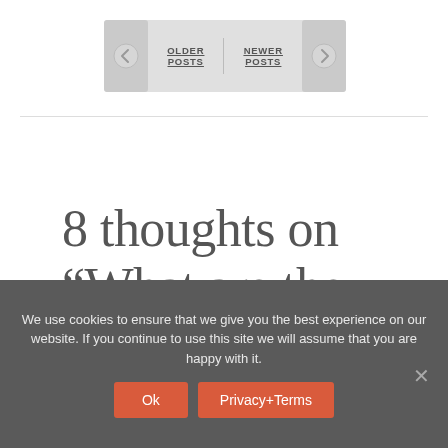OLDER POSTS  NEWER POSTS
8 thoughts on “What are the must-have tools for your artist blog?”
We use cookies to ensure that we give you the best experience on our website. If you continue to use this site we will assume that you are happy with it.